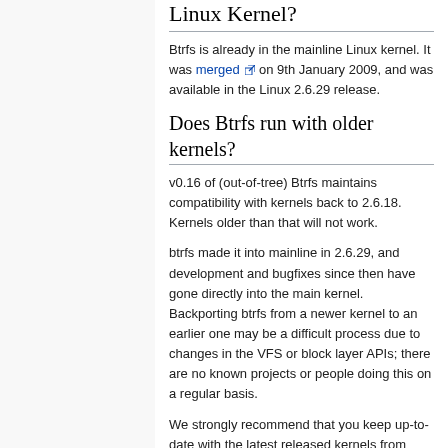Linux Kernel?
Btrfs is already in the mainline Linux kernel. It was merged on 9th January 2009, and was available in the Linux 2.6.29 release.
Does Btrfs run with older kernels?
v0.16 of (out-of-tree) Btrfs maintains compatibility with kernels back to 2.6.18. Kernels older than that will not work.
btrfs made it into mainline in 2.6.29, and development and bugfixes since then have gone directly into the main kernel. Backporting btrfs from a newer kernel to an earlier one may be a difficult process due to changes in the VFS or block layer APIs; there are no known projects or people doing this on a regular basis.
We strongly recommend that you keep up-to-date with the latest released kernels from kernel.org -- we try to maintain a list of sources that make that task easier for most major distributions.